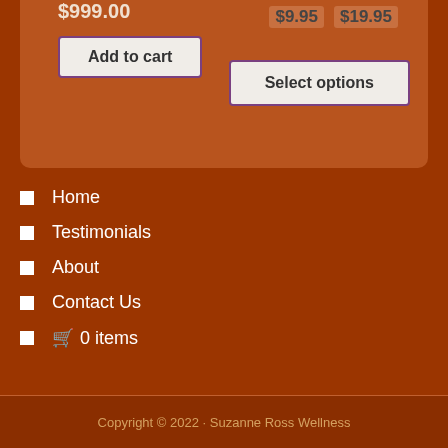$999.00
$9.95  $19.95
Add to cart
Select options
Home
Testimonials
About
Contact Us
🛒 0 items
Copyright © 2022 · Suzanne Ross Wellness